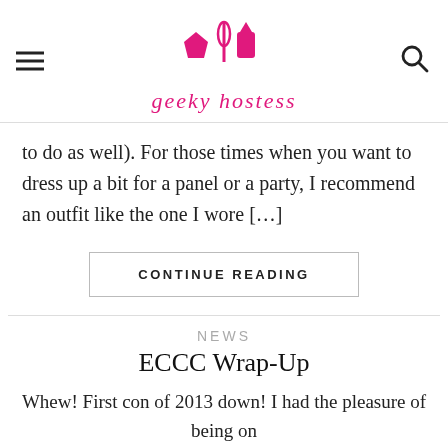geeky hostess
to do as well). For those times when you want to dress up a bit for a panel or a party,  I recommend an outfit like the one I wore [...]
CONTINUE READING
NEWS
ECCC Wrap-Up
Whew! First con of 2013 down! I had the pleasure of being on